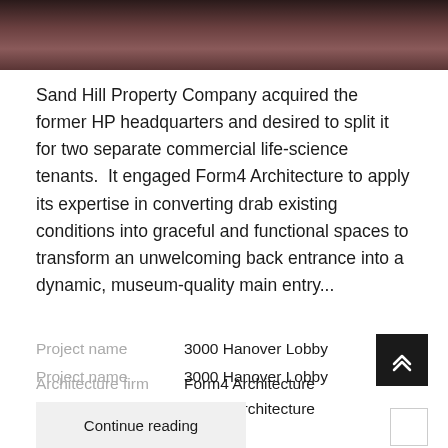[Figure (photo): Top portion of a photo showing what appears to be a building exterior, dark/reddish tones]
Sand Hill Property Company acquired the former HP headquarters and desired to split it for two separate commercial life-science tenants.  It engaged Form4 Architecture to apply its expertise in converting drab existing conditions into graceful and functional spaces to transform an unwelcoming back entrance into a dynamic, museum-quality main entry...
Project name    3000 Hanover Lobby
Architecture firm    Form4 Architecture
Location    Palo Alto, California, USA
Photography    John Sutton
Continue reading